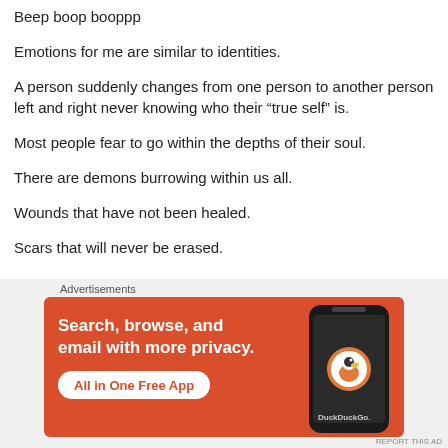Beep boop booppp
Emotions for me are similar to identities.
A person suddenly changes from one person to another person left and right never knowing who their “true self” is.
Most people fear to go within the depths of their soul.
There are demons burrowing within us all.
Wounds that have not been healed.
Scars that will never be erased.
[Figure (screenshot): DuckDuckGo advertisement banner: orange background with white bold text 'Search, browse, and email with more privacy.' and a white pill button with red text 'All in One Free App', plus a phone mockup showing the DuckDuckGo logo on the right side.]